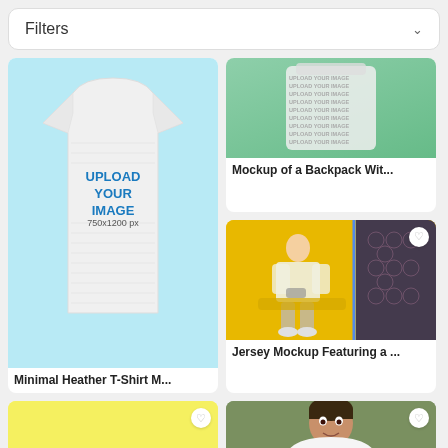Filters
[Figure (screenshot): Mockup of a Backpack with repeated 'UPLOAD YOUR IMAGE' text pattern on green background]
Mockup of a Backpack Wit...
[Figure (screenshot): Minimal Heather T-Shirt mockup showing 'UPLOAD YOUR IMAGE 750x1200 px' on light blue background]
Minimal Heather T-Shirt M...
[Figure (photo): Jersey Mockup featuring a young man sitting on a yellow sofa in a gaming/neon lit environment]
Jersey Mockup Featuring a ...
[Figure (photo): Mockup photo of a bowl with vegetables (peas, carrots, cucumber, spinach) and meat on yellow background]
[Figure (photo): Man wearing a white t-shirt mockup with 'UPLOAD YOUR IMAGE' text on olive green background]